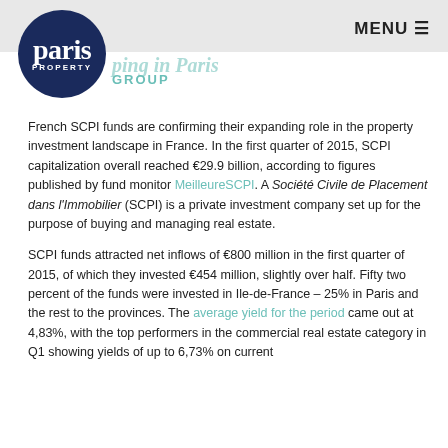[Figure (logo): Paris Property Group logo — dark navy circle with 'paris PROPERTY GROUP' text, teal 'GROUP' label beside it]
MENU ≡
ping in Paris
French SCPI funds are confirming their expanding role in the property investment landscape in France. In the first quarter of 2015, SCPI capitalization overall reached €29.9 billion, according to figures published by fund monitor MeilleureSCPI. A Société Civile de Placement dans l'Immobilier (SCPI) is a private investment company set up for the purpose of buying and managing real estate.
SCPI funds attracted net inflows of €800 million in the first quarter of 2015, of which they invested €454 million, slightly over half. Fifty two percent of the funds were invested in Ile-de-France – 25% in Paris and the rest to the provinces. The average yield for the period came out at 4,83%, with the top performers in the commercial real estate category in Q1 showing yields of up to 6,73% on current